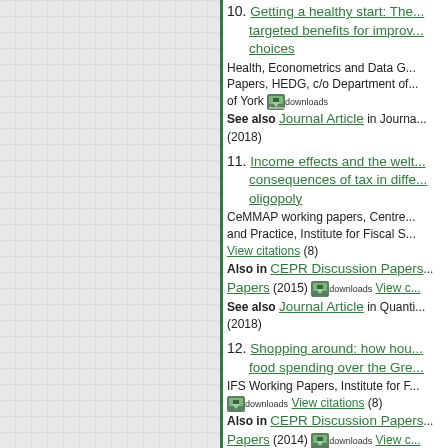10. Getting a healthy start: The...targeted benefits for improv... choices — Health, Econometrics and Data G... Papers, HEDG, c/o Department of... of York [downloads] See also Journal Article in Journa... (2018)
11. Income effects and the welt... consequences of tax in diffe... oligopoly — CeMMAP working papers, Centre... and Practice, Institute for Fiscal S... View citations (8) Also in CEPR Discussion Papers... Papers (2015) [downloads] View c... See also Journal Article in Quanti... (2018)
12. Shopping around: how hou... food spending over the Gre... — IFS Working Papers, Institute for F... [downloads] View citations (8) Also in CEPR Discussion Papers... Papers (2014) [downloads] View c... See also Journal Article in Econo...
13. Store Brands and the Role... — CEPR Discussion Papers, C.E.P.R... [downloads] View citations (3)